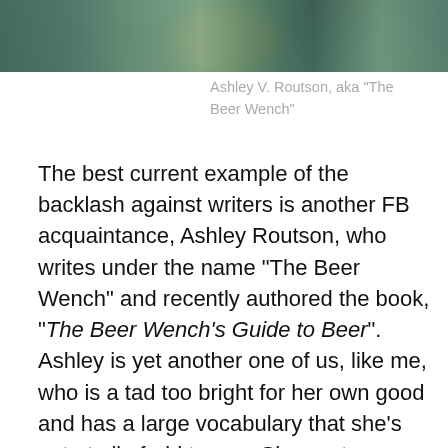[Figure (photo): Partial photo of Ashley V. Routson (The Beer Wench), cropped at top showing teal shirt and green background]
Ashley V. Routson, aka “The Beer Wench”
The best current example of the backlash against writers is another FB acquaintance, Ashley Routson, who writes under the name “The Beer Wench” and recently authored the book, “The Beer Wench’s Guide to Beer”. Ashley is yet another one of us, like me, who is a tad too bright for her own good and has a large vocabulary that she’s not at all afraid to use. She wrote a very tongue-in-cheek piece for thrillist.com, called “Six Dirty Lies Men Spread About Women and Beer”. I’m a man (last time I checked) and I read the thing and immediately understood that A) Ashley was not talking about all men, just a troglodytic sub-stratum which absolutely does exist, and B) that she